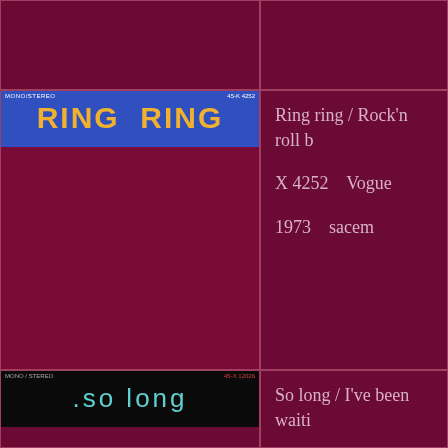[Figure (photo): Top-left empty cell, dark maroon background]
[Figure (photo): Record label for Ring Ring single by ABBA. Blue label with yellow bold text reading RING RING. Catalog number 45-K 4252. Mono/Stereo marking.]
Ring ring / Rock'n roll b
X 4252   Vogue
1973   sacem
[Figure (photo): Record label for So Long single. Black label with cyan/teal text reading .so long. Catalog number 45-X 12026. Mono/Stereo marking.]
So long / I've been waiti
X 12026   Revolution
1974   sacem